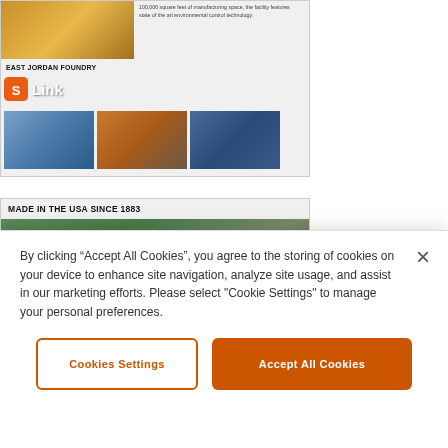[Figure (screenshot): East Jordan Foundry product card showing manufacturing facility images and a link badge]
EAST JORDAN FOUNDRY
[Figure (screenshot): Made in the USA Since 1883 product card with hero image of workers and company description]
MADE IN THE USA SINCE 1883
Made in the USA Since 1883
COMMITTED TO PROVIDING MADE IN THE USA PRODUCTS TO BUILD AMERICA'S INFRASTRUCTURE
EJ USA, Inc. manufactured products are melted, poured, finished, machined, coated, and assembled exclusively in the United States of America. This includes but is not limited to: manhole frames and covers, curb inlets and frames, utility castings, airport and port authority castings, tree grates, trench drains, drainage grates, storm drainage, fire hydrants, distribution lift gate valves,
By clicking “Accept All Cookies”, you agree to the storing of cookies on your device to enhance site navigation, analyze site usage, and assist in our marketing efforts. Please select "Cookie Settings" to manage your personal preferences.
Cookies Settings
Accept All Cookies